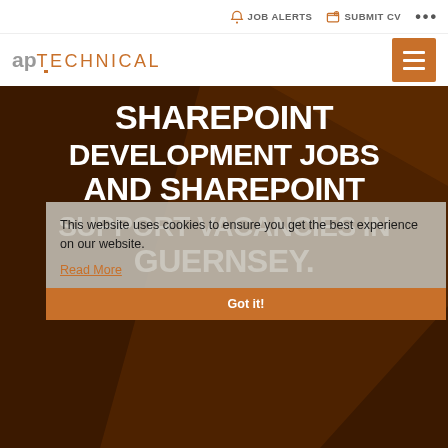JOB ALERTS  SUBMIT CV  ...
[Figure (logo): ap TECHNICAL logo with hamburger menu button]
[Figure (photo): Dark brown hero background image with diagonal shadow/light effect]
SHAREPOINT DEVELOPMENT JOBS AND SHAREPOINT SUPPORT VACANCIES IN GUERNSEY.
This website uses cookies to ensure you get the best experience on our website. Read More Got it!